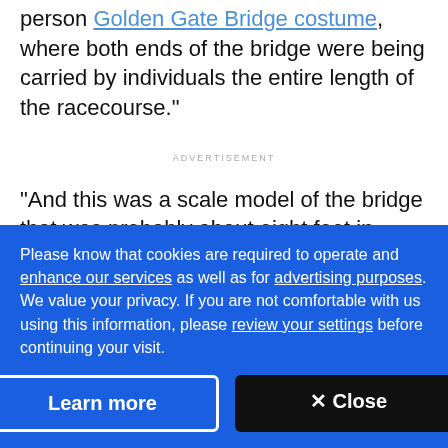person Golden Gate Bridge costume, where both ends of the bridge were being carried by individuals the entire length of the racecourse."
ADVERTISEMENT
"And this was a scale model of the bridge that was probably about eight feet in length. So it's not like the two people were right next to each other, and they somehow navigated the tens of thousands of people
Please know that cookies are required to operate and enhance our services as well as for advertising purposes. We value your privacy. If you are not comfortable with us using this information, please review your settings before continuing your visit.
Learn more
× Close